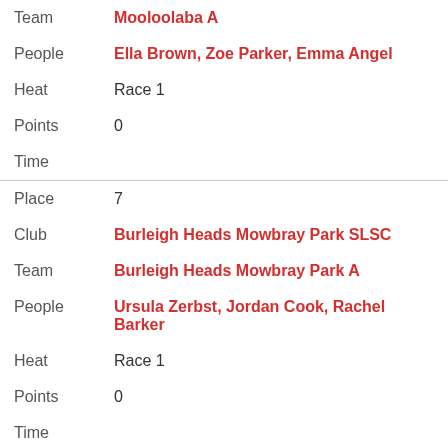| Team | Mooloolaba A |
| People | Ella Brown, Zoe Parker, Emma Angel |
| Heat | Race 1 |
| Points | 0 |
| Time |  |
| Place | 7 |
| Club | Burleigh Heads Mowbray Park SLSC |
| Team | Burleigh Heads Mowbray Park A |
| People | Ursula Zerbst, Jordan Cook, Rachel Barker |
| Heat | Race 1 |
| Points | 0 |
| Time |  |